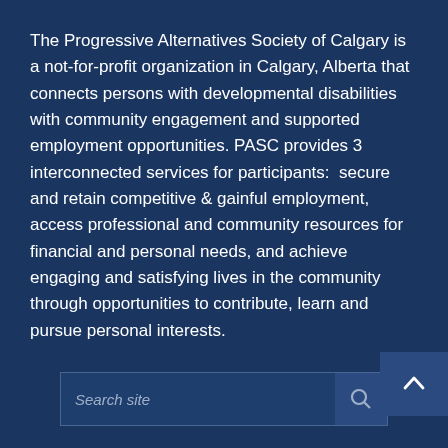The Progressive Alternatives Society of Calgary is a not-for-profit organization in Calgary, Alberta that connects persons with developmental disabilities with community engagement and supported employment opportunities. PASC provides 3 interconnected services for participants:  secure and retain competitive & gainful employment, access professional and community resources for financial and personal needs, and achieve engaging and satisfying lives in the community through opportunities to contribute, learn and pursue personal interests.
Search site
PASC NEWS
More advocacy is usually a good thing - it's important to note that this is a government office, and so will inevit...